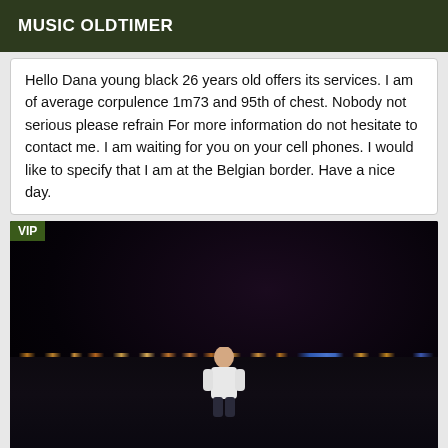MUSIC OLDTIMER
Hello Dana young black 26 years old offers its services. I am of average corpulence 1m73 and 95th of chest. Nobody not serious please refrain For more information do not hesitate to contact me. I am waiting for you on your cell phones. I would like to specify that I am at the Belgian border. Have a nice day.
[Figure (photo): Night time outdoor photo of a bald man in a white shirt standing against a dark background with city lights visible in the distance. VIP badge in top-left corner.]